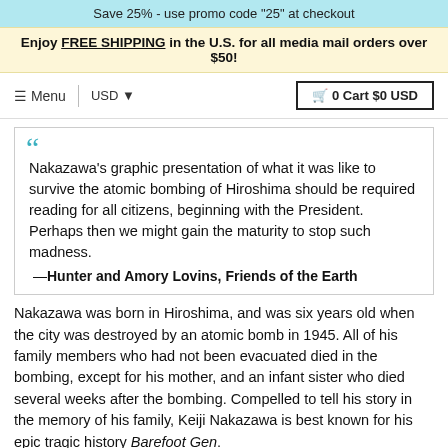Save 25% - use promo code "25" at checkout
Enjoy FREE SHIPPING in the U.S. for all media mail orders over $50!
≡ Menu   USD ▼   🛒 0 Cart $0 USD
Nakazawa's graphic presentation of what it was like to survive the atomic bombing of Hiroshima should be required reading for all citizens, beginning with the President. Perhaps then we might gain the maturity to stop such madness.
—Hunter and Amory Lovins, Friends of the Earth
Nakazawa was born in Hiroshima, and was six years old when the city was destroyed by an atomic bomb in 1945. All of his family members who had not been evacuated died in the bombing, except for his mother, and an infant sister who died several weeks after the bombing. Compelled to tell his story in the memory of his family, Keiji Nakazawa is best known for his epic tragic history Barefoot Gen.